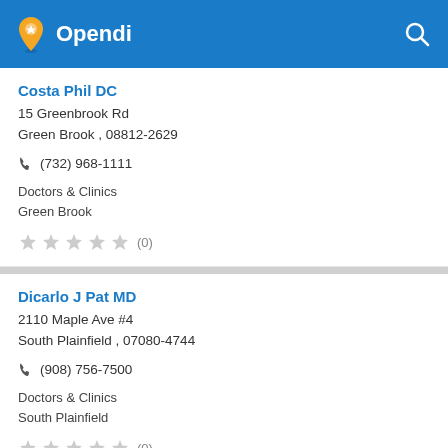Opendi
Costa Phil DC
15 Greenbrook Rd
Green Brook , 08812-2629
☎ (732) 968-1111
Doctors & Clinics
Green Brook
★★★★★ (0)
Dicarlo J Pat MD
2110 Maple Ave #4
South Plainfield , 07080-4744
☎ (908) 756-7500
Doctors & Clinics
South Plainfield
★★★★★ (0)